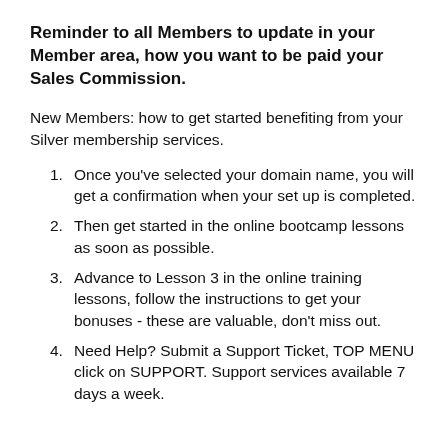Reminder to all Members to update in your Member area, how you want to be paid your Sales Commission.
New Members: how to get started benefiting from your Silver membership services.
Once you've selected your domain name, you will get a confirmation when your set up is completed.
Then get started in the online bootcamp lessons as soon as possible.
Advance to Lesson 3 in the online training lessons, follow the instructions to get your bonuses - these are valuable, don't miss out.
Need Help? Submit a Support Ticket, TOP MENU click on SUPPORT. Support services available 7 days a week.